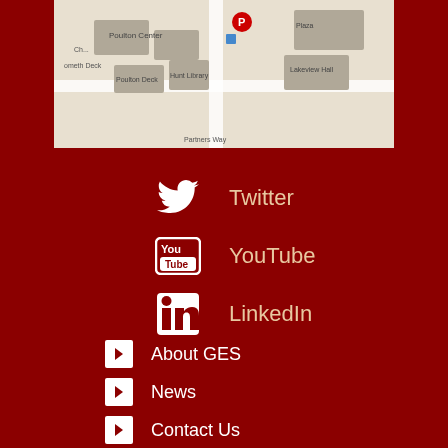[Figure (map): Campus map showing Poulton Center, Poulton Deck, Hunt Library, parking area, Lakeview Hall, and Partners Way]
Twitter
YouTube
LinkedIn
About GES
News
Contact Us
Privacy
Accessibility
ORI